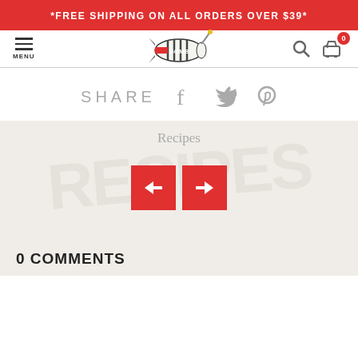*FREE SHIPPING ON ALL ORDERS OVER $39*
[Figure (logo): Bomb brand logo - illustrated bomb/blimp with text BOMB, navigation header with hamburger menu, search icon, and cart icon with badge showing 0]
SHARE
Recipes
[Figure (other): Navigation arrows - left arrow (back) and right arrow (forward) as red square buttons]
0 COMMENTS